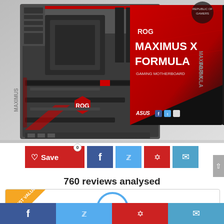[Figure (photo): ASUS ROG Maximus X Formula gaming motherboard shown alongside its retail box. The motherboard features dark grey and black PCB with red accents and ROG logo. The box is red and black with 'ROG MAXIMUS X FORMULA GAMING MOTHERBOARD' text.]
[Figure (infographic): Social sharing bar with Save button (heart icon, red background, count 0), Facebook (dark blue), Twitter (light blue), Pinterest (red), and Email (light blue) icons.]
760 reviews analysed
[Figure (infographic): Rating card with 'BEST VALUE' diagonal badge in gold/yellow on top-left corner, and a rank circle showing '1' in blue outline in the center.]
[Figure (infographic): Bottom social sharing bar with Facebook, Twitter, Pinterest, and Email icons across full width.]